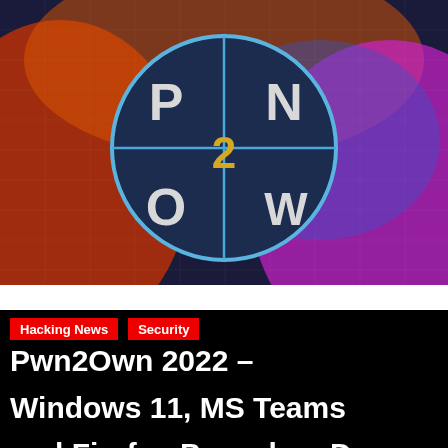[Figure (logo): Pwn2Own logo: dark navy circle with light blue ring, letters P W N 2 O W N arranged in a cross/quadrant pattern. The '2' in the center is gold/yellow, the rest of the letters are white/light grey. Background is a colorful gradient (red, blue, purple, magenta, with a grid overlay).]
Hacking News
Security
Pwn2Own 2022 – Windows 11, MS Teams and Firefox Pwned on Day 1